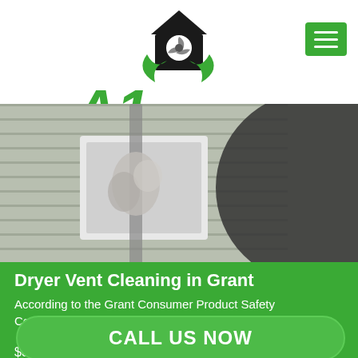[Figure (logo): A1 Air Duct logo with house icon and green leaves, text reading A1 AIR DUCT in green and black]
[Figure (photo): Dryer vent cleaning photo showing a brush cleaning a dryer vent opening in white siding, with lint visible]
Dryer Vent Cleaning in Grant
According to the Grant Consumer Product Safety Commission's 1997 Residential Fire Loss Estimates
CALL US NOW
$84 million in property damage resulted from these